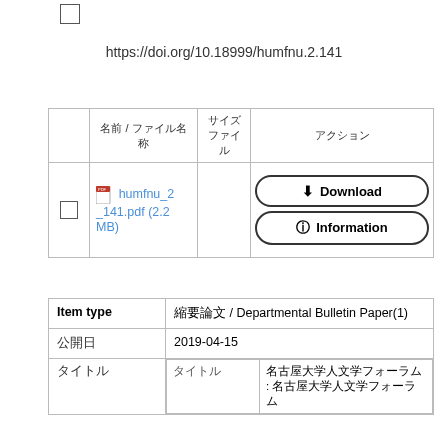https://doi.org/10.18999/humfnu.2.141
|  | 名前 / ファイル名称 | サイズ ファイ ル | アクション |
| --- | --- | --- | --- |
| ☐ | 📄 humfnu_2_141.pdf (2.2 MB) |  | Download | Information |
| Item type | 紀要論文 / Departmental Bulletin Paper(1) |
| --- | --- |
| 公開日 | 2019-04-15 |
| タイトル |  |
| タイトル | 名古屋大学人文学フォーラム : 名古屋大学人文学フォーラム |